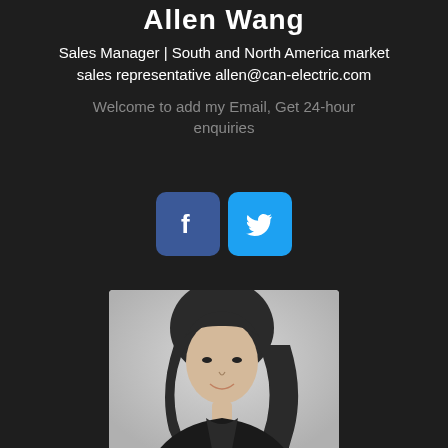Allen Wang
Sales Manager | South and North America market sales representative allen@can-electric.com
Welcome to add my Email, Get 24-hour enquiries
[Figure (illustration): Two social media icon buttons: Facebook (dark blue) and Twitter (light blue)]
[Figure (photo): Black and white professional headshot of a young Asian woman with shoulder-length dark hair, smiling, wearing a dark top]